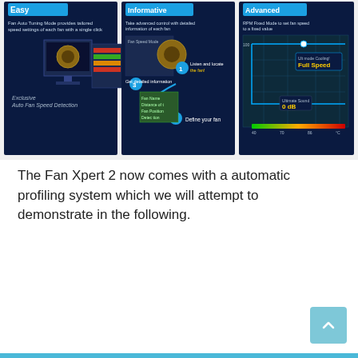[Figure (screenshot): Three side-by-side screenshots of Fan Xpert 2 software modes: Easy (Auto Fan Speed Detection), Informative (detailed fan info with numbered steps), and Advanced (RPM Fixed Mode showing Full Speed and 0 dB settings with temperature graph)]
The Fan Xpert 2 now comes with a automatic profiling system which we will attempt to demonstrate in the following.